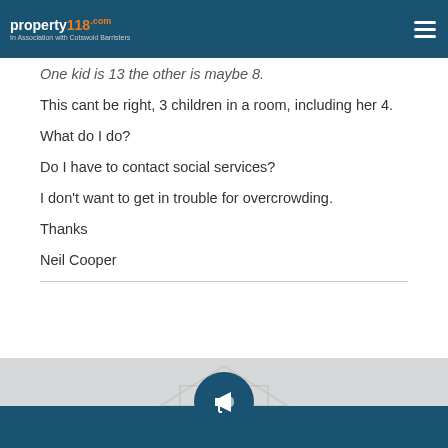property118.com — In Association with Cotswold Barristers
One kid is 13 the other is maybe 8.
This cant be right, 3 children in a room, including her 4.
What do I do?
Do I have to contact social services?
I don't want to get in trouble for overcrowding.
Thanks
Neil Cooper
[Figure (logo): Megaphone icon in a circle above a teal banner, representing property118 promotional section]